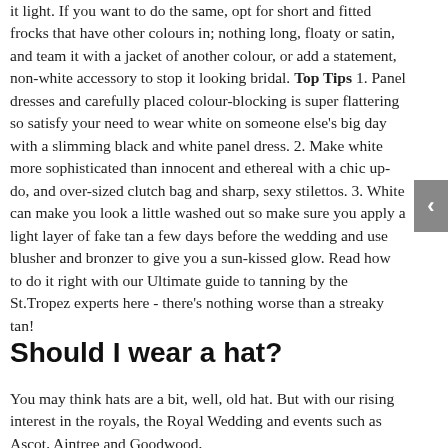it light. If you want to do the same, opt for short and fitted frocks that have other colours in; nothing long, floaty or satin, and team it with a jacket of another colour, or add a statement, non-white accessory to stop it looking bridal. Top Tips 1. Panel dresses and carefully placed colour-blocking is super flattering so satisfy your need to wear white on someone else's big day with a slimming black and white panel dress. 2. Make white more sophisticated than innocent and ethereal with a chic up-do, and over-sized clutch bag and sharp, sexy stilettos. 3. White can make you look a little washed out so make sure you apply a light layer of fake tan a few days before the wedding and use blusher and bronzer to give you a sun-kissed glow. Read how to do it right with our Ultimate guide to tanning by the St.Tropez experts here - there's nothing worse than a streaky tan!
Should I wear a hat?
You may think hats are a bit, well, old hat. But with our rising interest in the royals, the Royal Wedding and events such as Ascot, Aintree and Goodwood,